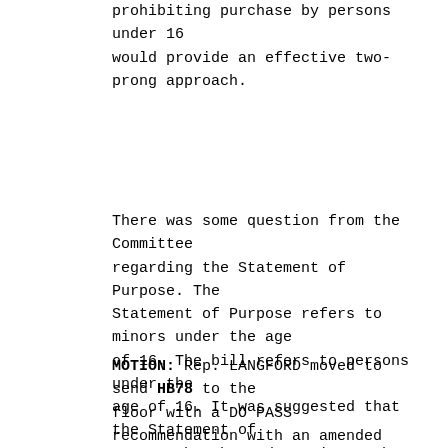prohibiting purchase by persons under 16 would provide an effective two-prong approach.
There was some question from the Committee regarding the Statement of Purpose. The Statement of Purpose refers to minors under the age of 16. The bill refers to persons under the age of 16. It was suggested that the Statement of Purpose be changed to mirror the text of the bill. The Committee agreed it should read “sale of fireworks to persons under the age of 16”.
MOTION: Rep. LANGFORD moved to send HB78 to the floor with a DO PASS recommendation with an amended Statement of Purpose. Motion carried by voice vote. Rep. EDMUNSON wished to be recorded